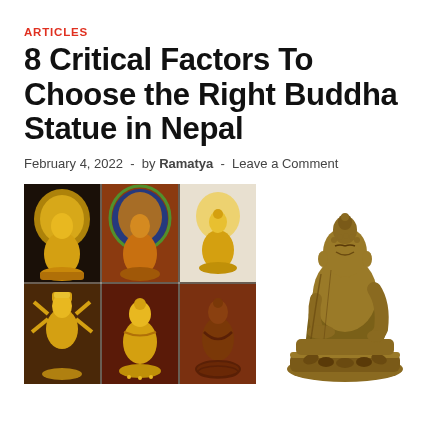ARTICLES
8 Critical Factors To Choose the Right Buddha Statue in Nepal
February 4, 2022 - by Ramatya - Leave a Comment
[Figure (photo): Collage of six Buddha statues from Nepal in various styles and materials, plus a single large bronze Buddha statue on the right]
[Figure (photo): Large single bronze/gold Buddha statue seated on lotus throne, antique finish]